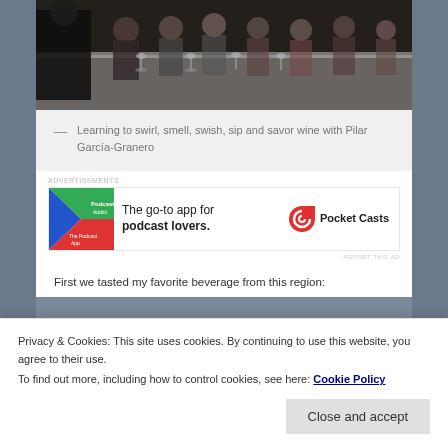[Figure (photo): Classroom scene showing students at a long white table with wine glasses, learning about wine tasting from an instructor]
— Learning to swirl, smell, swish, sip and savor wine with Pilar García-Granero
[Figure (screenshot): Advertisement for Pocket Casts app — The go-to app for podcast lovers.]
First we tasted my favorite beverage from this region:
Privacy & Cookies: This site uses cookies. By continuing to use this website, you agree to their use.
To find out more, including how to control cookies, see here: Cookie Policy